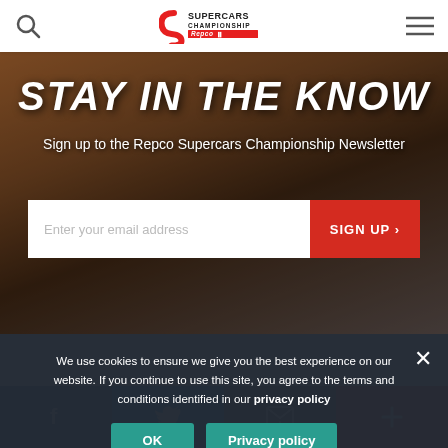[Figure (logo): Supercars Championship Repco logo in header]
STAY IN THE KNOW
Sign up to the Repco Supercars Championship Newsletter
Enter your email address
SIGN UP ›
We use cookies to ensure we give you the best experience on our website. If you continue to use this site, you agree to the terms and conditions identified in our privacy policy
OK
Privacy policy
[Figure (infographic): Social share bar with Facebook, Twitter, email, and plus buttons]